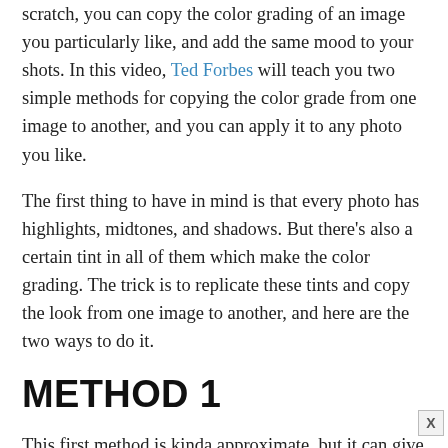scratch, you can copy the color grading of an image you particularly like, and add the same mood to your shots. In this video, Ted Forbes will teach you two simple methods for copying the color grade from one image to another, and you can apply it to any photo you like.
The first thing to have in mind is that every photo has highlights, midtones, and shadows. But there's also a certain tint in all of them which make the color grading. The trick is to replicate these tints and copy the look from one image to another, and here are the two ways to do it.
METHOD 1
This first method is kinda approximate, but it can give you great results.
Start by opening the source photo and look at the highlights and the shadows first. Double-click on the foreground color and sample the color from the darkest point in the image. In Ted's case, it's a very dark shade of magenta. Then double-click on the background color